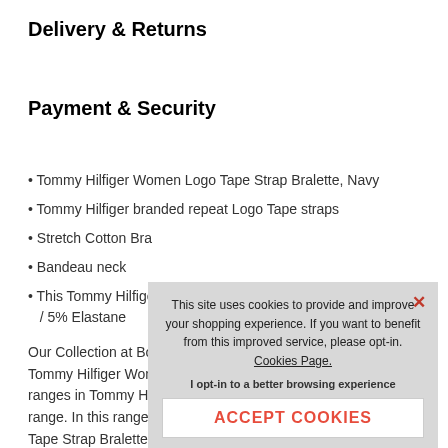Delivery & Returns
Payment & Security
Tommy Hilfiger Women Logo Tape Strap Bralette, Navy
Tommy Hilfiger branded repeat Logo Tape straps
Stretch Cotton Bra
Bandeau neck
This Tommy Hilfige… / 5% Elastane
Our Collection at Bo… Tommy Hilfiger Wom… ranges in Tommy Hil… range. In this range… Tape Strap Bralette,
This site uses cookies to provide and improve your shopping experience. If you want to benefit from this improved service, please opt-in. Cookies Page. I opt-in to a better browsing experience ACCEPT COOKIES
SHARE